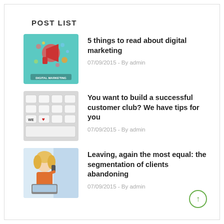POST LIST
5 things to read about digital marketing
07/09/2015  -  By admin
You want to build a successful customer club? We have tips for you
07/09/2015  -  By admin
Leaving, again the most equal: the segmentation of clients abandoning
07/09/2015  -  By admin